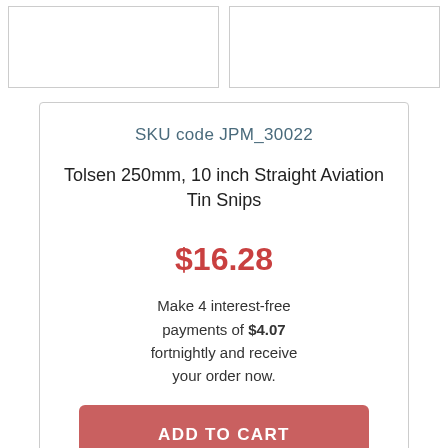[Figure (other): Two image placeholder boxes side by side at the top of the page]
SKU code JPM_30022
Tolsen 250mm, 10 inch Straight Aviation Tin Snips
$16.28
Make 4 interest-free payments of $4.07 fortnightly and receive your order now.
ADD TO CART